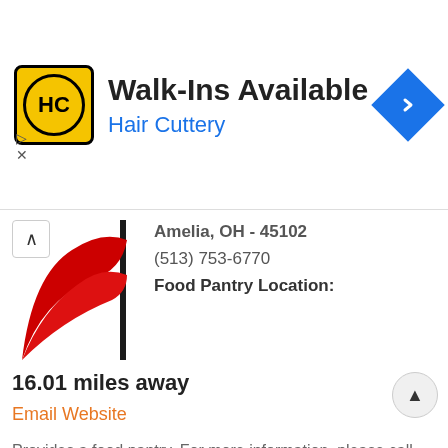[Figure (infographic): Hair Cuttery advertisement banner with yellow/black logo, 'Walk-Ins Available' title, 'Hair Cuttery' subtitle in blue, and blue diamond navigation icon]
[Figure (logo): Red swoosh logo image for a food pantry organization, partially visible]
Amelia, OH - 45102
(513) 753-6770
Food Pantry Location:
16.01 miles away
Email Website
Provides a food pantry. For more information, please call.
Go To Details Page For More Information
Grace and Mercy Outreach Inc.
View Website and Full